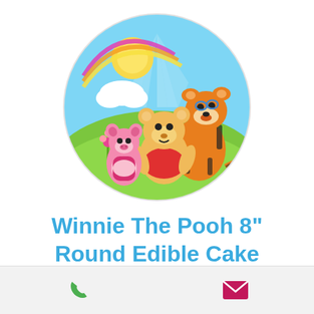[Figure (illustration): Circular cake topper image showing Winnie the Pooh characters: Piglet, Pooh, and Tigger on a sunny green hillside with rainbow and clouds on a light blue background.]
Winnie The Pooh 8" Round Edible Cake Topper #1
[Figure (infographic): Bottom action bar with a green phone icon on the left and a magenta/pink envelope/email icon on the right, on a light grey background.]